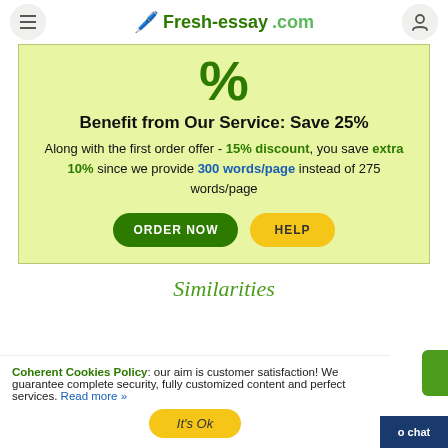Fresh-essay.com
[Figure (infographic): Large green percent symbol on light green promo box background]
Benefit from Our Service: Save 25%
Along with the first order offer - 15% discount, you save extra 10% since we provide 300 words/page instead of 275 words/page
ORDER NOW | HELP
Similarities
Coherent Cookies Policy: our aim is customer satisfaction! We guarantee complete security, fully customized content and perfect services. Read more »
It's Ok